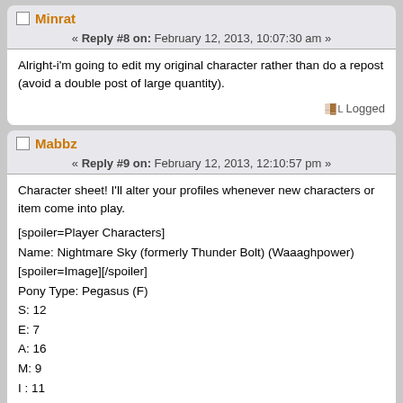Minrat
« Reply #8 on: February 12, 2013, 10:07:30 am »
Alright-i'm going to edit my original character rather than do a repost (avoid a double post of large quantity).
Logged
Mabbz
« Reply #9 on: February 12, 2013, 12:10:57 pm »
Character sheet! I'll alter your profiles whenever new characters or item come into play.

[spoiler=Player Characters]
Name: Nightmare Sky (formerly Thunder Bolt) (Waaaghpower)
[spoiler=Image][/spoiler]
Pony Type: Pegasus (F)
S: 12
E: 7
A: 16
M: 9
I : 11
Cutie mark: Sound waves emanating from a dark thunder cloud